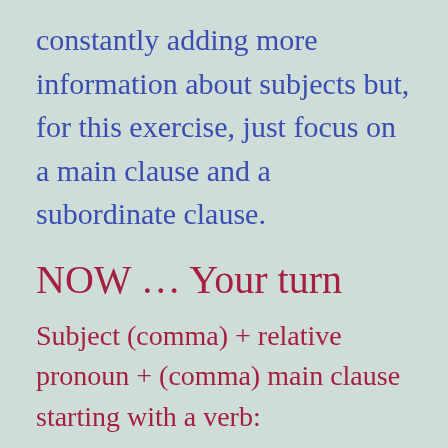constantly adding more information about subjects but, for this exercise, just focus on a main clause and a subordinate clause.
NOW … Your turn
Subject (comma) + relative pronoun + (comma) main clause starting with a verb: